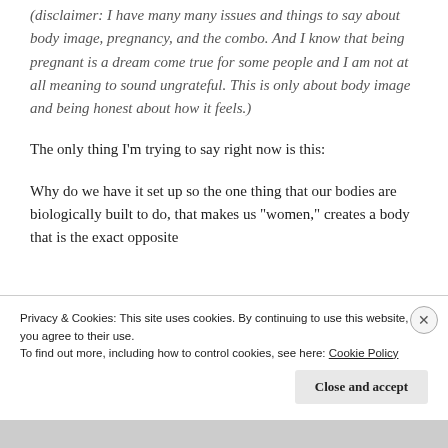(disclaimer: I have many many issues and things to say about body image, pregnancy, and the combo. And I know that being pregnant is a dream come true for some people and I am not at all meaning to sound ungrateful. This is only about body image and being honest about how it feels.)
The only thing I'm trying to say right now is this:
Why do we have it set up so the one thing that our bodies are biologically built to do, that makes us "women," creates a body that is the exact opposite
Privacy & Cookies: This site uses cookies. By continuing to use this website, you agree to their use. To find out more, including how to control cookies, see here: Cookie Policy